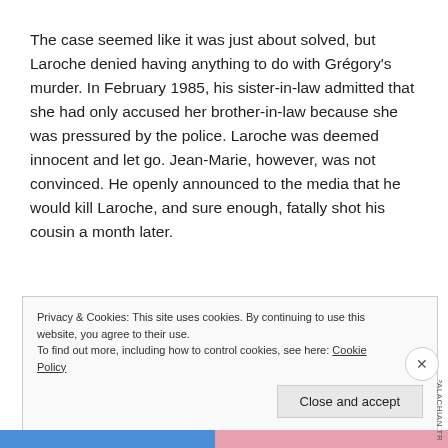The case seemed like it was just about solved, but Laroche denied having anything to do with Grégory's murder. In February 1985, his sister-in-law admitted that she had only accused her brother-in-law because she was pressured by the police. Laroche was deemed innocent and let go. Jean-Marie, however, was not convinced. He openly announced to the media that he would kill Laroche, and sure enough, fatally shot his cousin a month later.
Privacy & Cookies: This site uses cookies. By continuing to use this website, you agree to their use. To find out more, including how to control cookies, see here: Cookie Policy